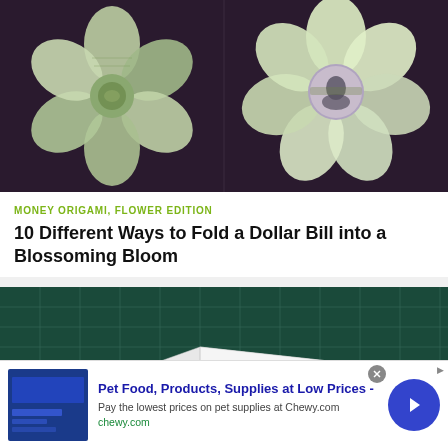[Figure (photo): Two money origami flowers made from dollar bills on a dark purple background. Left flower viewed from top showing green bill petals, right flower showing a face/portrait in the center.]
MONEY ORIGAMI, FLOWER EDITION
10 Different Ways to Fold a Dollar Bill into a Blossoming Bloom
[Figure (photo): A white paper airplane or origami shape on a dark teal/green cutting mat background.]
Pet Food, Products, Supplies at Low Prices -
Pay the lowest prices on pet supplies at Chewy.com
chewy.com